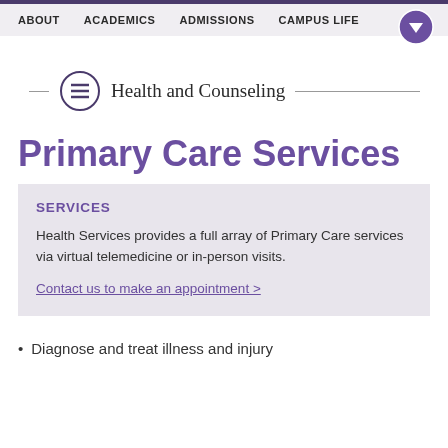ABOUT | ACADEMICS | ADMISSIONS | CAMPUS LIFE
Health and Counseling
Primary Care Services
SERVICES
Health Services provides a full array of Primary Care services via virtual telemedicine or in-person visits.
Contact us to make an appointment >
Diagnose and treat illness and injury